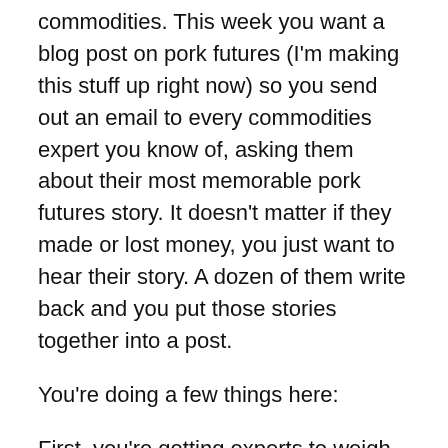commodities. This week you want a blog post on pork futures (I'm making this stuff up right now) so you send out an email to every commodities expert you know of, asking them about their most memorable pork futures story. It doesn't matter if they made or lost money, you just want to hear their story. A dozen of them write back and you put those stories together into a post.
You're doing a few things here:
First, you're getting experts to weigh in on an interesting question, which means you get to 'borrow' on their credibility, making you look good to your readers and customers.
Second, you're doing this in story form, and since